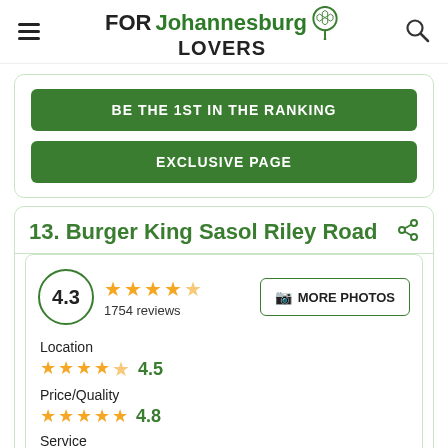FORJohannesburgLOVERS
BE THE 1ST IN THE RANKING
EXCLUSIVE PAGE
13. Burger King Sasol Riley Road
4.3  ★★★★☆  1754 reviews  MORE PHOTOS
Location  ★★★★☆  4.5
Price/Quality  ★★★★★  4.8
Service